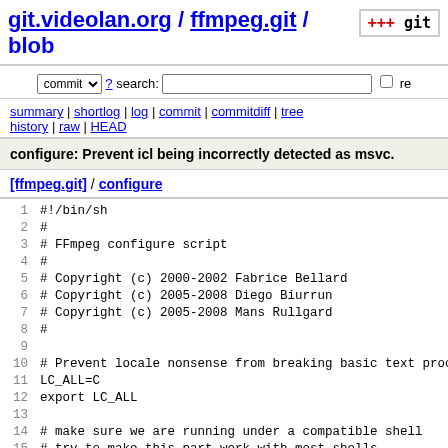git.videolan.org / ffmpeg.git / blob
commit ? search: re
summary | shortlog | log | commit | commitdiff | tree history | raw | HEAD
configure: Prevent icl being incorrectly detected as msvc.
[ffmpeg.git] / configure
[Figure (screenshot): Shell script source code viewer showing lines 1-19 of configure script for FFmpeg, including shebang, copyright notices, and function definitions]